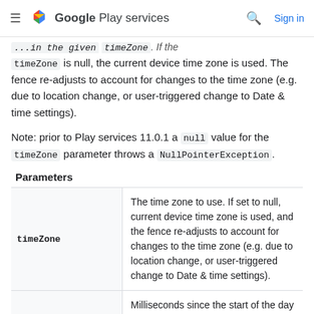Google Play services
...in the given timeZone. If the timeZone is null, the current device time zone is used. The fence re-adjusts to account for changes to the time zone (e.g. due to location change, or user-triggered change to Date & time settings).
Note: prior to Play services 11.0.1 a null value for the timeZone parameter throws a NullPointerException.
Parameters
| Parameter | Description |
| --- | --- |
| timeZone | The time zone to use. If set to null, current device time zone is used, and the fence re-adjusts to account for changes to the time zone (e.g. due to location change, or user-triggered change to Date & time settings). |
|  | Milliseconds since the start of the day |